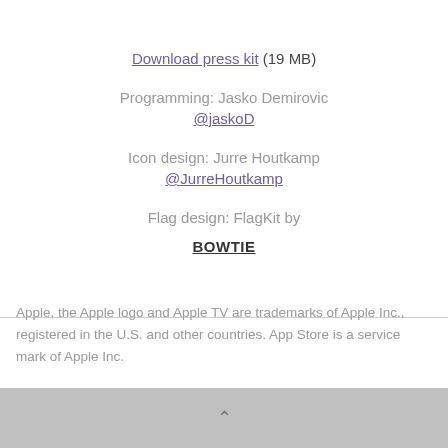Download press kit (19 MB)
Programming: Jasko Demirovic
@jaskoD
Icon design: Jurre Houtkamp
@JurreHoutkamp
Flag design: FlagKit by
BOWTIE
Apple, the Apple logo and Apple TV are trademarks of Apple Inc., registered in the U.S. and other countries. App Store is a service mark of Apple Inc.
^